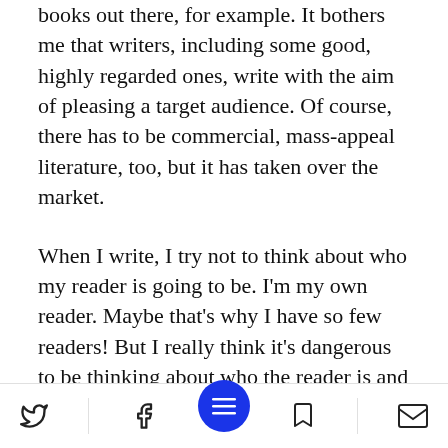books out there, for example. It bothers me that writers, including some good, highly regarded ones, write with the aim of pleasing a target audience. Of course, there has to be commercial, mass-appeal literature, too, but it has taken over the market.
When I write, I try not to think about who my reader is going to be. I'm my own reader. Maybe that's why I have so few readers! But I really think it's dangerous to be thinking about who the reader is and what he's able to handle, what words he knows. I don't want my editor to say: Gear th…k you're thinking of
[Twitter icon] [Facebook icon] [Menu button] [Bookmark icon] [Email icon]